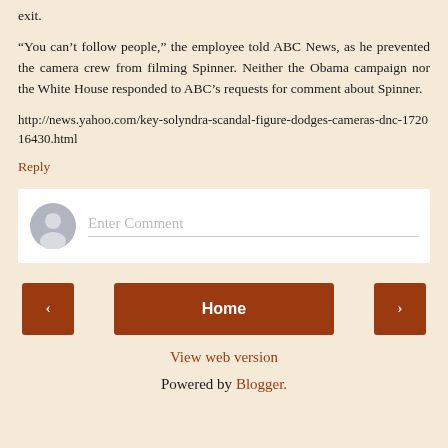exit.
“You can’t follow people,” the employee told ABC News, as he prevented the camera crew from filming Spinner. Neither the Obama campaign nor the White House responded to ABC’s requests for comment about Spinner.
http://news.yahoo.com/key-solyndra-scandal-figure-dodges-cameras-dnc-172016430.html
Reply
[Figure (other): Comment input box with avatar icon and placeholder text 'Enter Comment']
< Home > navigation buttons
View web version
Powered by Blogger.